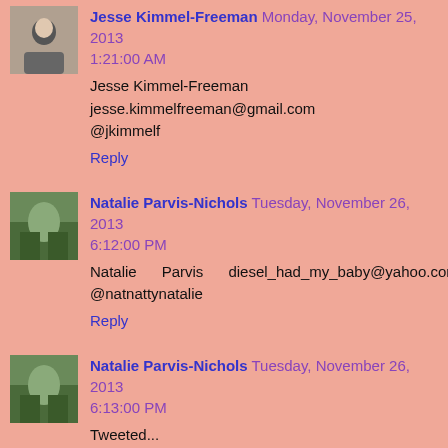Jesse Kimmel-Freeman Monday, November 25, 2013 1:21:00 AM
Jesse Kimmel-Freeman
jesse.kimmelfreeman@gmail.com
@jkimmelf
Reply
Natalie Parvis-Nichols Tuesday, November 26, 2013 6:12:00 PM
Natalie Parvis diesel_had_my_baby@yahoo.com, @natnattynatalie
Reply
Natalie Parvis-Nichols Tuesday, November 26, 2013 6:13:00 PM
Tweeted...
https://twitter.com/NatNattyNatalie/status/405474390344626178